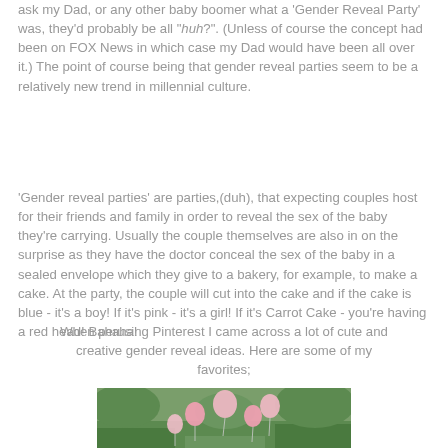ask my Dad, or any other baby boomer what a 'Gender Reveal Party' was, they'd probably be all "huh?". (Unless of course the concept had been on FOX News in which case my Dad would have been all over it.) The point of course being that gender reveal parties seem to be a relatively new trend in millennial culture.
'Gender reveal parties' are parties,(duh), that expecting couples host for their friends and family in order to reveal the sex of the baby they're carrying. Usually the couple themselves are also in on the surprise as they have the doctor conceal the sex of the baby in a sealed envelope which they give to a bakery, for example, to make a cake. At the party, the couple will cut into the cake and if the cake is blue - it's a boy! If it's pink - it's a girl! If it's Carrot Cake - you're having a red head! Bahaha!
When perusing Pinterest I came across a lot of cute and creative gender reveal ideas. Here are some of my favorites;
[Figure (photo): Outdoor photo showing pink balloons and decorations on grass with trees in background, related to gender reveal party.]